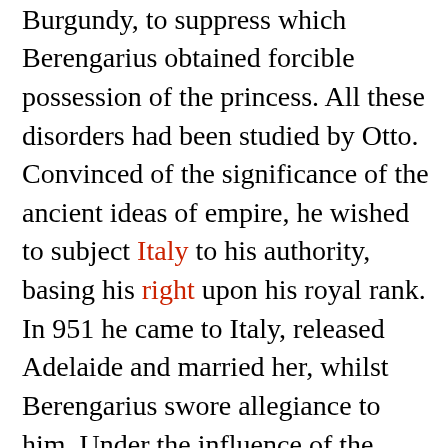daughter of Rudolph II of Upper Burgundy, to suppress which Berengarius obtained forcible possession of the princess. All these disorders had been studied by Otto. Convinced of the significance of the ancient ideas of empire, he wished to subject Italy to his authority, basing his right upon his royal rank. In 951 he came to Italy, released Adelaide and married her, whilst Berengarius swore allegiance to him. Under the influence of the Roman Alberich, the son of Marozia, Pope Agapetus refused the imperial crown to the German king. But even without the coronation, the universality of his rule was apparent. He stood de facto at the head of the West. The royal power was now in need of the strongest support.